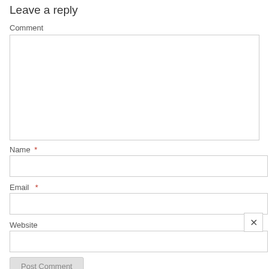Leave a reply
Comment
Name *
Email *
Website
Post Comment